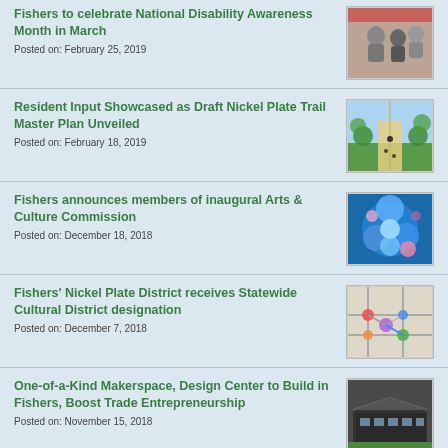Fishers to celebrate National Disability Awareness Month in March
Posted on: February 25, 2019
Resident Input Showcased as Draft Nickel Plate Trail Master Plan Unveiled
Posted on: February 18, 2019
Fishers announces members of inaugural Arts & Culture Commission
Posted on: December 18, 2018
Fishers' Nickel Plate District receives Statewide Cultural District designation
Posted on: December 7, 2018
One-of-a-Kind Makerspace, Design Center to Build in Fishers, Boost Trade Entrepreneurship
Posted on: November 15, 2018
City of Fishers named Emerging Arts Champion